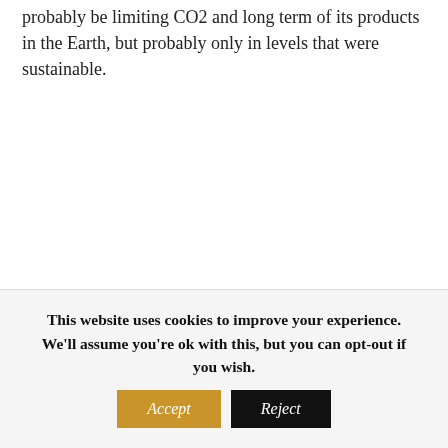products in the Earth, but probably only in levels that were sustainable.
This website uses cookies to improve your experience. We'll assume you're ok with this, but you can opt-out if you wish.